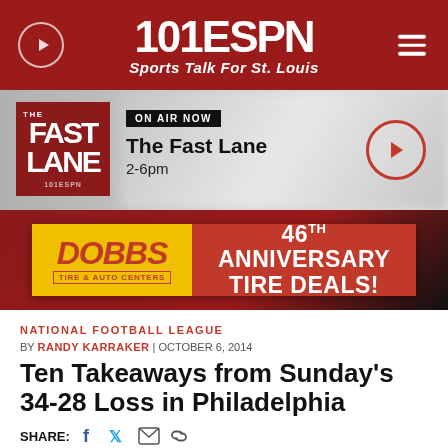101 ESPN Sports Talk For St. Louis
ON AIR NOW
The Fast Lane
2-6pm
[Figure (infographic): Dobbs Tire & Auto Centers advertisement banner: 46TH ANNIVERSARY TIRE DEALS!]
NATIONAL FOOTBALL LEAGUE
BY RANDY KARRAKER | OCTOBER 6, 2014
Ten Takeaways from Sunday's 34-28 Loss in Philadelphia
SHARE: